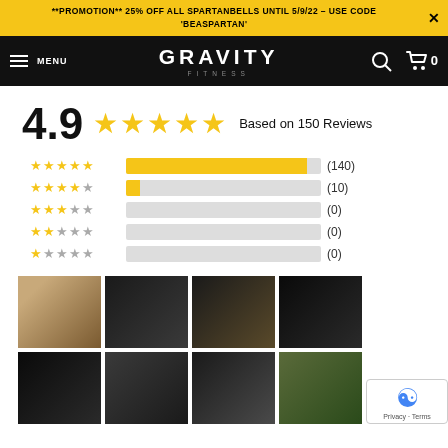**PROMOTION** 25% OFF ALL SPARTANBELLS UNTIL 5/9/22 - USE CODE 'BEASPARTAN'
[Figure (logo): Gravity Fitness logo and navigation bar with hamburger menu, MENU text, search icon, and cart icon showing 0]
4.9 ★★★★★ Based on 150 Reviews
[Figure (bar-chart): Rating distribution]
[Figure (photo): Grid of 8 customer review photos showing gym equipment, packaging, and assembly]
[Figure (other): reCAPTCHA badge with Privacy - Terms text]